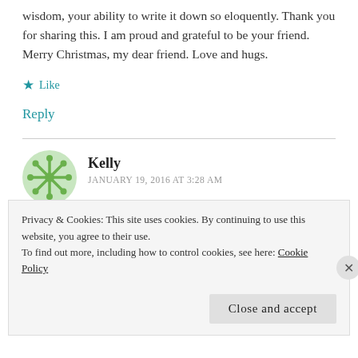wisdom, your ability to write it down so eloquently. Thank you for sharing this. I am proud and grateful to be your friend. Merry Christmas, my dear friend. Love and hugs.
★ Like
Reply
Kelly
JANUARY 19, 2016 AT 3:28 AM
Privacy & Cookies: This site uses cookies. By continuing to use this website, you agree to their use.
To find out more, including how to control cookies, see here: Cookie Policy
Close and accept